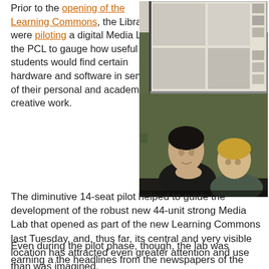Prior to the opening of the Learning Commons, the Libraries were piloting a digital Media Lab in the PCL to gauge how useful students would find certain hardware and software in service of their personal and academic creative work.
[Figure (photo): Two people standing in front of a projected screen on a green wall, appearing to look at or discuss content being projected.]
The diminutive 14-seat pilot helped to guide the development of the robust new 44-unit strong Media Lab that opened as part of the new Learning Commons last Tuesday, and, thus far, its central and very visible location has attracted even greater attention and use than was imagined.
Even during the pilot phase, though, the lab was earning a the headlines from the newspapers of the semester that the...